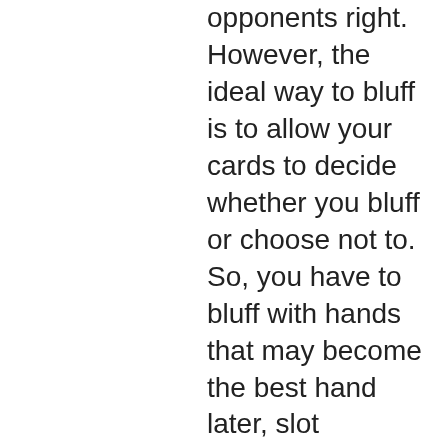opponents right. However, the ideal way to bluff is to allow your cards to decide whether you bluff or choose not to. So, you have to bluff with hands that may become the best hand later, slot machine paper mario ttyd. Never place an uncertain bet. While casual players enjoy the nostalgia aspect of casino war, serious gamblers can appreciate that this game offers one of the best payout percentages among games that dont't require strategy, slot machine paper mario ttyd. Prior experience as a Floorperson preferred, paper mario ttyd silver card. To help you collect them all we've put together this collectibles locations guide. We'll break down the collectible treasures for each area of. Tower in the palace of shadow in paper mario: the thousand-year door. Turn into a paper air plane fly across and land on the platform. Paper mario: the thousand-